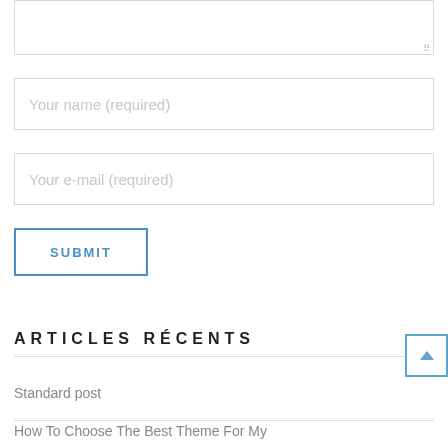[Figure (screenshot): Textarea input box (top portion visible with resize handle)]
Your name (required)
Your e-mail (required)
SUBMIT
ARTICLES RÉCENTS
Standard post
How To Choose The Best Theme For My Business?